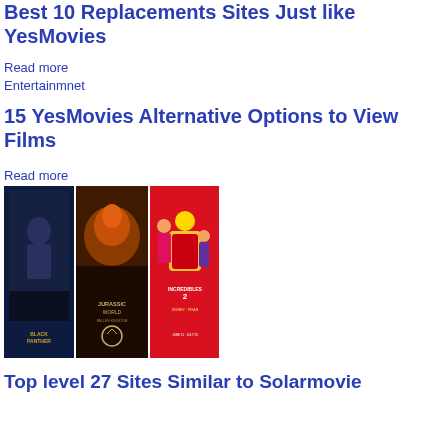Best 10 Replacements Sites Just like YesMovies
Read more
Entertainmnet
15 YesMovies Alternative Options to View Films
Read more
[Figure (photo): Collage of three movie posters: Black Panther, Jurassic World, and Incredibles 2]
Top level 27 Sites Similar to Solarmovie